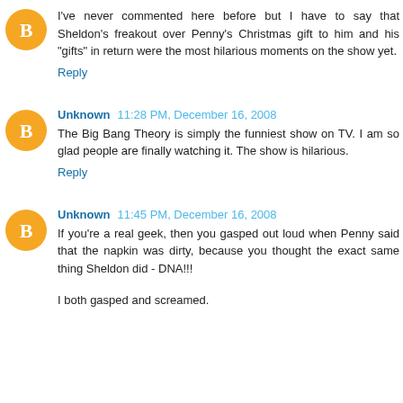I've never commented here before but I have to say that Sheldon's freakout over Penny's Christmas gift to him and his "gifts" in return were the most hilarious moments on the show yet.
Reply
Unknown 11:28 PM, December 16, 2008
The Big Bang Theory is simply the funniest show on TV. I am so glad people are finally watching it. The show is hilarious.
Reply
Unknown 11:45 PM, December 16, 2008
If you're a real geek, then you gasped out loud when Penny said that the napkin was dirty, because you thought the exact same thing Sheldon did - DNA!!!
I both gasped and screamed.